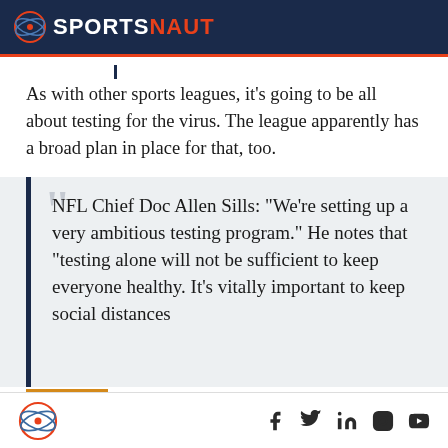SPORTSNAUT
As with other sports leagues, it’s going to be all about testing for the virus. The league apparently has a broad plan in place for that, too.
NFL Chief Doc Allen Sills: “We’re setting up a very ambitious testing program.” He notes that “testing alone will not be sufficient to keep everyone healthy. It’s vitally important to keep social distances
SPORTSNAUT social icons: Facebook, Twitter, LinkedIn, Instagram, YouTube